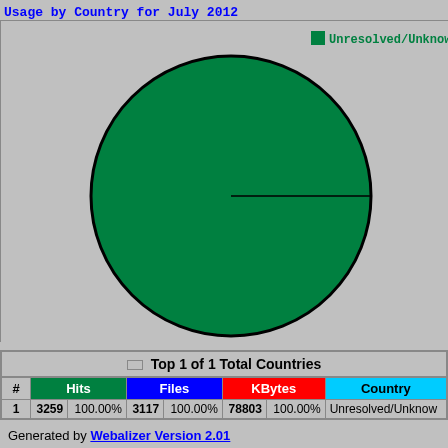Usage by Country for July 2012
[Figure (pie-chart): Single-slice green pie chart showing 100% Unresolved/Unknown usage. Legend label 'Unresolved/Unknown' shown in green top-right.]
| # | Hits |  | Files |  | KBytes |  | Country |
| --- | --- | --- | --- | --- | --- | --- | --- |
| 1 | 3259 | 100.00% | 3117 | 100.00% | 78803 | 100.00% | Unresolved/Unknown |
Top 1 of 1 Total Countries
Generated by Webalizer Version 2.01